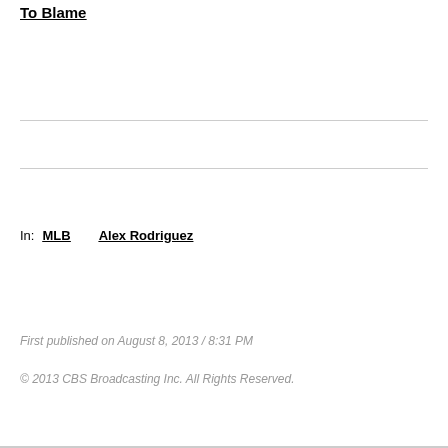To Blame
In:   MLB   Alex Rodriguez
First published on August 8, 2013 / 8:31 PM
© 2013 CBS Broadcasting Inc. All Rights Reserved.